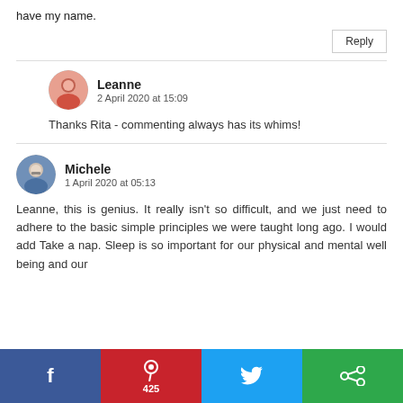have my name.
Reply
Leanne
2 April 2020 at 15:09
Thanks Rita - commenting always has its whims!
Michele
1 April 2020 at 05:13
Leanne, this is genius. It really isn't so difficult, and we just need to adhere to the basic simple principles we were taught long ago. I would add Take a nap. Sleep is so important for our physical and mental well being and our
f   P 425   (twitter bird)   (share icon)